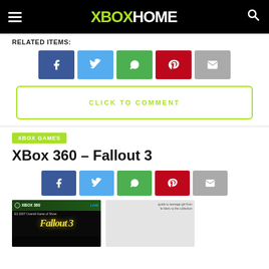XBOX HOME
RELATED ITEMS:
[Figure (other): Social share buttons row: Facebook, Twitter, WhatsApp, Pinterest, Email]
[Figure (other): CLICK TO COMMENT button with green border]
XBOX GAMES
XBox 360 – Fallout 3
[Figure (other): Social share buttons row 2: Facebook, Twitter, WhatsApp, Pinterest, Email]
[Figure (photo): Fallout 3 Xbox 360 game box cover and a second image placeholder]